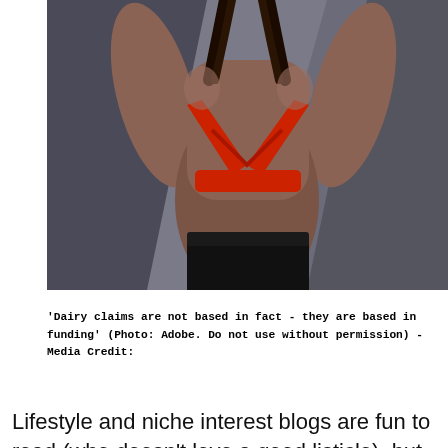[Figure (photo): Athletic woman viewed from behind, wearing a red cross-back sports bra and black leggings, arms raised, against a dark geometric grey background.]
'Dairy claims are not based in fact - they are based in funding' (Photo: Adobe. Do not use without permission) - Media Credit:
Lifestyle and niche interest blogs are fun to read (who doesn't love a good listicle), but they shouldn't inform your nutrition...